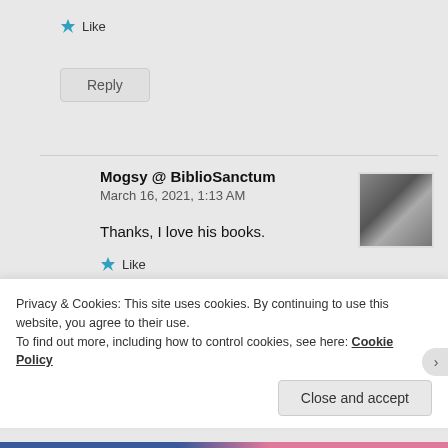★ Like
Reply
Mogsy @ BiblioSanctum
March 16, 2021, 1:13 AM
Thanks, I love his books.
★ Like
Privacy & Cookies: This site uses cookies. By continuing to use this website, you agree to their use.
To find out more, including how to control cookies, see here: Cookie Policy
Close and accept